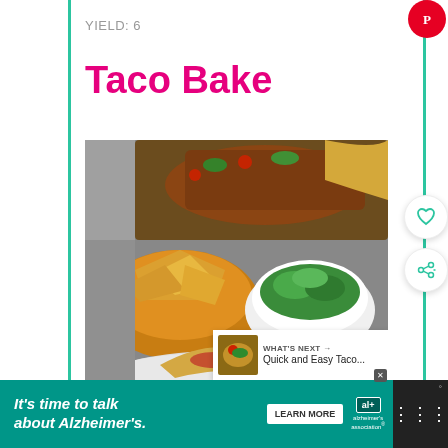YIELD: 6
Taco Bake
[Figure (photo): Food photo showing taco bake dish with tortilla chips in yellow bowl, white bowl of green salad, baked taco casserole with tomatoes and greens, and a plated serving in foreground]
WHAT'S NEXT → Quick and Easy Taco...
It's time to talk about Alzheimer's.
LEARN MORE